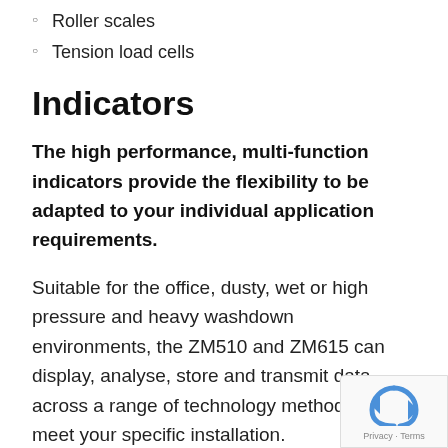Roller scales
Tension load cells
Indicators
The high performance, multi-function indicators provide the flexibility to be adapted to your individual application requirements.
Suitable for the office, dusty, wet or high pressure and heavy washdown environments, the ZM510 and ZM615 can display, analyse, store and transmit data across a range of technology methods to meet your specific installation.